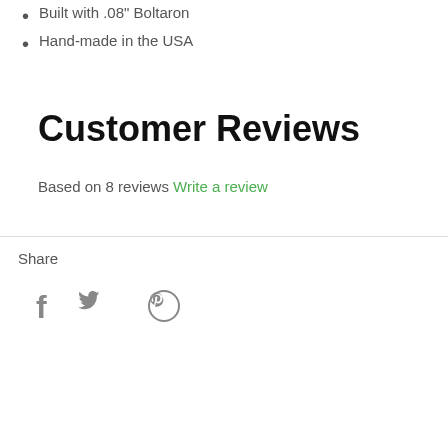Built with .08" Boltaron
Hand-made in the USA
Customer Reviews
Based on 8 reviews Write a review
Share
[Figure (illustration): Social media icons: Facebook, Twitter, Pinterest]